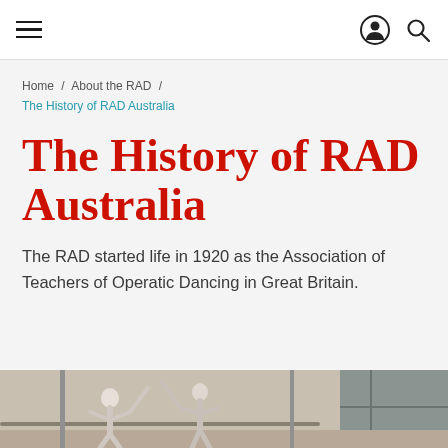≡  [user icon]  [search icon]
Home / About the RAD / The History of RAD Australia
The History of RAD Australia
The RAD started life in 1920 as the Association of Teachers of Operatic Dancing in Great Britain.
[Figure (photo): Black and white photograph of ballet dancers at a barre in a studio]